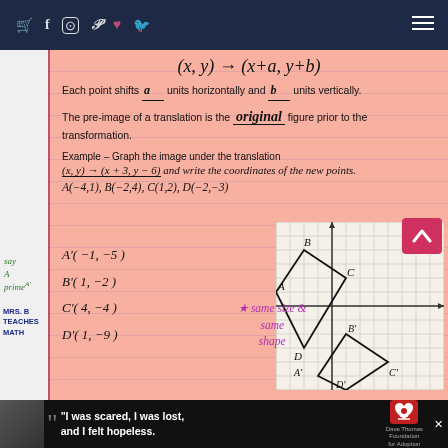Navigation bar with social icons and menu
Each point shifts a units horizontally and b units vertically.
The pre-image of a translation is the original figure prior to the transformation.
Example – Graph the image under the translation (x,y) → (x+3, y–6) and write the coordinates of the new points.
A(−4,1), B(−2,4), C(1,2), D(−2,−3)
A'( −1, −5 )
B'( 1, −2 )
C'( 4, −4 )
D'( 1, −9 )
★ same size & same shape
[Figure (other): Coordinate grid showing quadrilateral ABCD and its translated image A'B'C'D' with labeled vertices]
"I was scared, I was lost, and I felt hopeless." Dave Thomas Foundation for Adoption advertisement